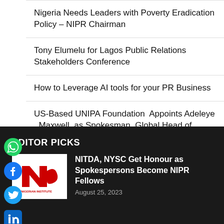Nigeria Needs Leaders with Poverty Eradication Policy – NIPR Chairman
Tony Elumelu for Lagos Public Relations Stakeholders Conference
How to Leverage AI tools for your PR Business
US-Based UNIPA Foundation  Appoints Adeleye , Maxwell  as Spokesman, Global Head of Media Communications
[Figure (infographic): Social media sharing icons sidebar: WhatsApp (green), Facebook (blue), Twitter (blue), LinkedIn (blue), Pinterest (red), Reddit (orange), Email (red), Print (dark)]
EDITOR PICKS
[Figure (logo): Nigerian Institute (NIPR) logo – red N-shaped icon with 'NIGERIAN INSTITUTE' text]
NITDA, NYSC Get Honour as Spokespersons Become NIPR Fellows
August 25, 2023